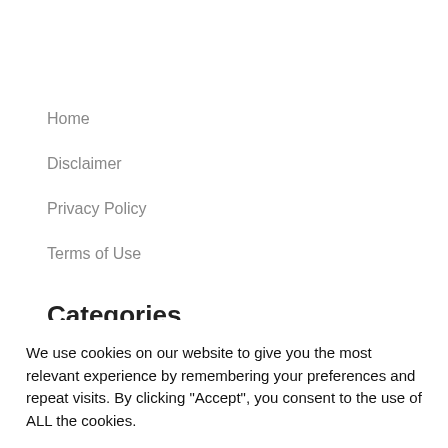Home
Disclaimer
Privacy Policy
Terms of Use
Categories
We use cookies on our website to give you the most relevant experience by remembering your preferences and repeat visits. By clicking “Accept”, you consent to the use of ALL the cookies.
Cookie settings
ACCEPT